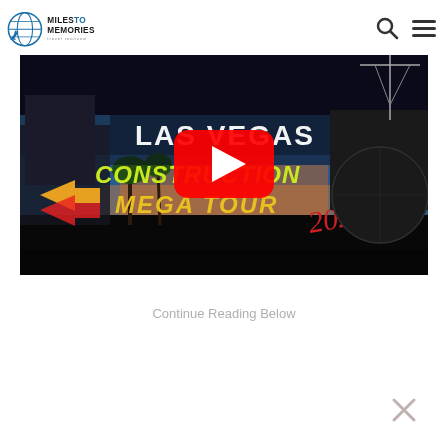Miles to Memories - travel realized
[Figure (screenshot): YouTube video thumbnail for 'Las Vegas Construction Mega Tour 2022' with a red YouTube play button in the center. Background shows Las Vegas scenes with neon signs, construction sites, and the MSG Sphere. Text on thumbnail reads LAS VEGAS CONSTRUCTION MEGA TOUR 2022 in yellow/green and red lettering.]
Continue Reading Below